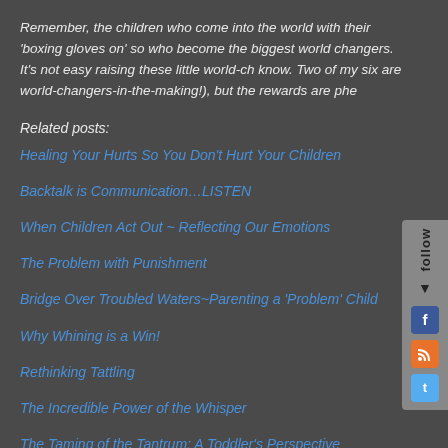Remember, the children who come into the world with their 'boxing gloves on' so who become the biggest world changers. It's not easy raising these little world-ch know. Two of my six are world-changers-in-the-making!), but the rewards are phe
Related posts:
Healing Your Hurts So You Don't Hurt Your Children
Backtalk is Communication…LISTEN
When Children Act Out ~ Reflecting Our Emotions
The Problem with Punishment
Bridge Over Troubled Waters~Parenting a 'Problem' Child
Why Whining is a Win!
Rethinking Tattling
The Incredible Power of the Whisper
The Taming of the Tantrum: A Toddler's Perspective